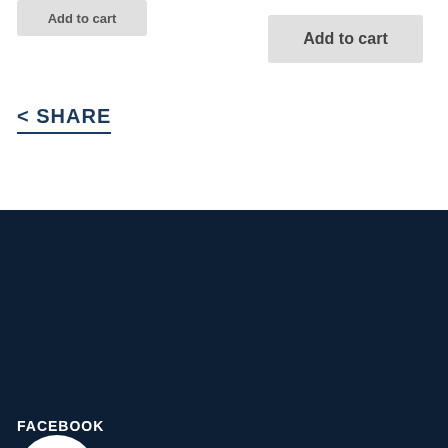Add to cart
Add to cart
< SHARE
[Figure (logo): Seventh-day Adventist Church circular logo with flame and open book in white on dark navy background]
AdventistBiblicalResearch.org is the official website of the Biblical Research Institute for the Seventh-day Adventist World Church
FACEBOOK